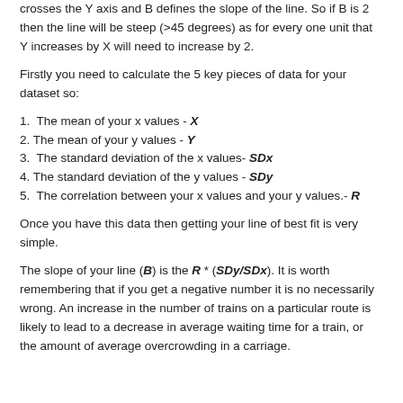crosses the Y axis and B defines the slope of the line. So if B is 2 then the line will be steep (>45 degrees) as for every one unit that Y increases by X will need to increase by 2.
Firstly you need to calculate the 5 key pieces of data for your dataset so:
1.  The mean of your x values - X
2. The mean of your y values - Y
3.  The standard deviation of the x values- SDx
4. The standard deviation of the y values - SDy
5.  The correlation between your x values and your y values.- R
Once you have this data then getting your line of best fit is very simple.
The slope of your line (B) is the R * (SDy/SDx). It is worth remembering that if you get a negative number it is no necessarily wrong. An increase in the number of trains on a particular route is likely to lead to a decrease in average waiting time for a train, or the amount of average overcrowding in a carriage.